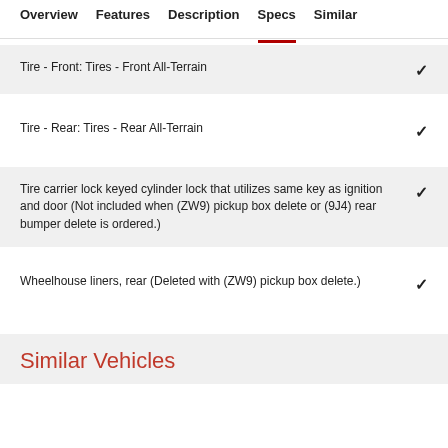Overview  Features  Description  Specs  Similar
Tire - Front: Tires - Front All-Terrain ✓
Tire - Rear: Tires - Rear All-Terrain ✓
Tire carrier lock keyed cylinder lock that utilizes same key as ignition and door (Not included when (ZW9) pickup box delete or (9J4) rear bumper delete is ordered.) ✓
Wheelhouse liners, rear (Deleted with (ZW9) pickup box delete.) ✓
Similar Vehicles